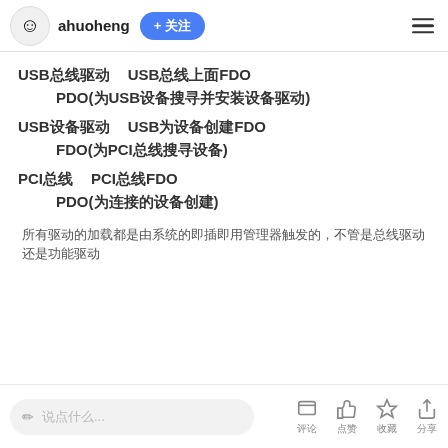ahuoheng + 关注
USB总线驱动  USB总线上面FDO
PDO(为USB设备搜寻并安装设备驱动)
USB设备驱动  USB为设备创建FDO
FDO(为PCI总线搜寻设备)
PCI总线  PCI总线FDO
PDO(为连接的设备创建)
所有驱动的加载都是由系统的即插即用管理器触发的，不管是总线驱动还是功能驱动
评论  点赞  收藏  分享